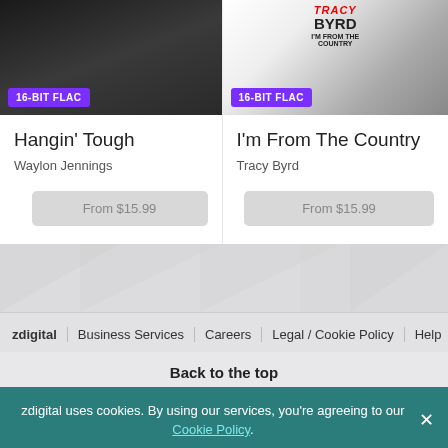[Figure (photo): Album cover for Hangin' Tough by Waylon Jennings, dark portrait photo with 16-BIT FLAC badge]
Hangin' Tough
Waylon Jennings
From $15.99
[Figure (photo): Album cover for I'm From The Country by Tracy Byrd, showing TRACY BYRD I'M FROM THE COUNTRY text with 16-BIT FLAC badge]
I'm From The Country
Tracy Byrd
From $15.99
zdigital   Business Services   Careers   Legal / Cookie Policy   Help
Back to the top
zdigital uses cookies. By using our services, you're agreeing to our Cookie Policy.